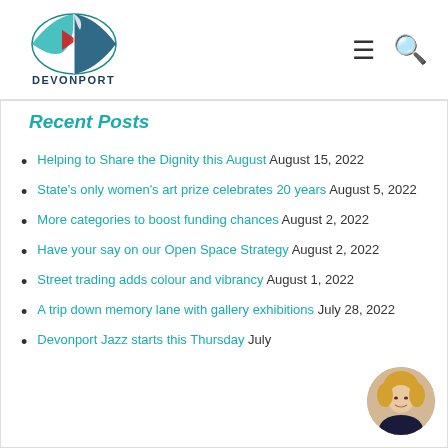[Figure (logo): Devonport city logo with sailboat graphic and 'DEVONPORT' text in dark blue]
Recent Posts
Helping to Share the Dignity this August August 15, 2022
State's only women's art prize celebrates 20 years August 5, 2022
More categories to boost funding chances August 2, 2022
Have your say on our Open Space Strategy August 2, 2022
Street trading adds colour and vibrancy August 1, 2022
A trip down memory lane with gallery exhibitions July 28, 2022
Devonport Jazz starts this Thursday July
[Figure (photo): Circular portrait photo of a blonde woman]